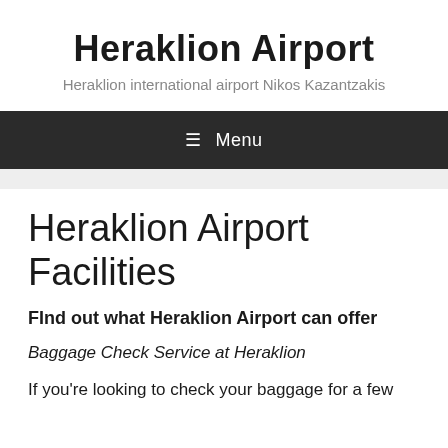Heraklion Airport
Heraklion international airport Nikos Kazantzakis
≡ Menu
Heraklion Airport Facilities
FInd out what Heraklion Airport can offer
Baggage Check Service at Heraklion
If you're looking to check your baggage for a few